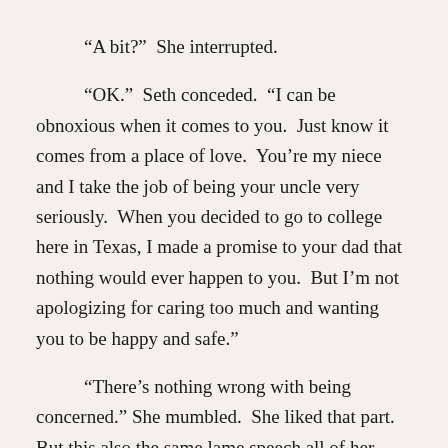“A bit?”  She interrupted.
“OK.”  Seth conceded.  “I can be obnoxious when it comes to you.  Just know it comes from a place of love.  You’re my niece and I take the job of being your uncle very seriously.  When you decided to go to college here in Texas, I made a promise to your dad that nothing would ever happen to you.  But I’m not apologizing for caring too much and wanting you to be happy and safe.”
“There’s nothing wrong with being concerned.”  She mumbled.  She liked that part. But this also the same lame speech all of her uncles gave her.  “But you can’t follow me around for the rest of my life.  You and